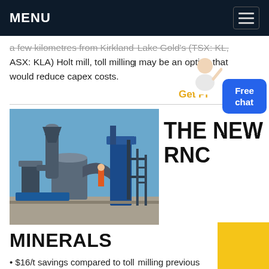MENU
a few kilometres from Kirkland Lake Gold's (TSX: KL, ASX: KLA) Holt mill, toll milling may be an option that would reduce capex costs.
Get Pr...
[Figure (photo): Industrial mining equipment/mill installation outdoors with blue sky background]
THE NEW RNC
MINERALS
• $16/t savings compared to toll milling previous 1.4 Mtpa capacity results in ~2.3 year payback on